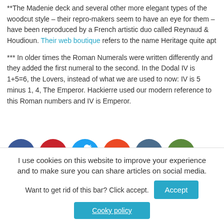**The Madenie deck and several other more elegant types of the woodcut style – their repro-makers seem to have an eye for them – have been reproduced by a French artistic duo called Reynaud & Houdioun. Their web boutique refers to the name Heritage quite apt
*** In older times the Roman Numerals were written differently and they added the first numeral to the second. In the Dodal IV is 1+5=6, the Lovers, instead of what we are used to now: IV is 5 minus 1, 4, The Emperor. Hackierre used our modern reference to this Roman numbers and IV is Emperor.
[Figure (infographic): Row of 6 social media sharing icons: Facebook (blue), Pinterest (red), Twitter (cyan/blue), StumbleUpon (orange), LinkedIn (dark blue/grey), Email (green)]
I use cookies on this website to improve your experience and to make sure you can share articles on social media. Want to get rid of this bar? Click accept.